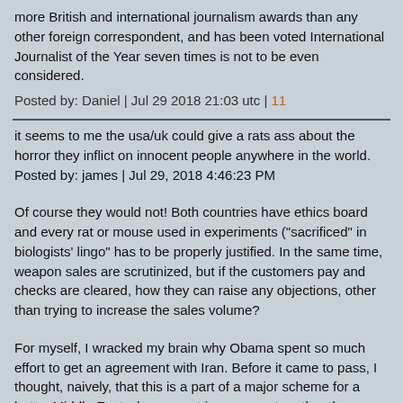more British and international journalism awards than any other foreign correspondent, and has been voted International Journalist of the Year seven times is not to be even considered.
Posted by: Daniel | Jul 29 2018 21:03 utc | 11
it seems to me the usa/uk could give a rats ass about the horror they inflict on innocent people anywhere in the world.
Posted by: james | Jul 29, 2018 4:46:23 PM
Of course they would not! Both countries have ethics board and every rat or mouse used in experiments ("sacrificed" in biologists' lingo" has to be properly justified. In the same time, weapon sales are scrutinized, but if the customers pay and checks are cleared, how they can raise any objections, other than trying to increase the sales volume?
For myself, I wracked my brain why Obama spent so much effort to get an agreement with Iran. Before it came to pass, I thought, naively, that this is a part of a major scheme for a better Middle East where countries cooperate rather than compete who makes bigger sh..t to each other. But afterwards, the Administration was sabotaging any promised relief to Iran and then actively contributed to fomenting wars in Yemen and Syria (Libya was a tad earlier in the timeline if I recall). But as a sales tactic it was a beauty: Saudis and other Gulfies became more paranoid and redoubled their